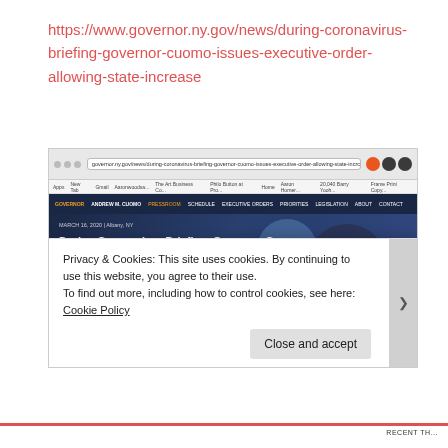https://www.governor.ny.gov/news/during-coronavirus-briefing-governor-cuomo-issues-executive-order-allowing-state-increase
[Figure (screenshot): Screenshot of the New York Governor's website showing a news article titled 'During Coronavirus Briefing, Governor Cuomo Issues Executive Order Allowing State to Increase Hospital Capacity', with a cookie consent banner overlay at the bottom reading 'Privacy & Cookies: This site uses cookies. By continuing to use this website, you agree to their use. To find out more, including how to control cookies, see here: Cookie Policy' and a 'Close and accept' button.]